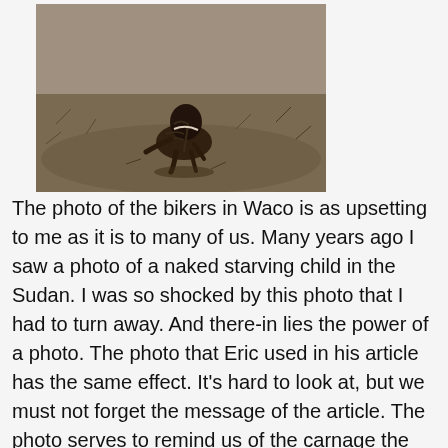[Figure (photo): Black and white photograph of a severely malnourished child crouched on dry, barren ground in Sudan.]
The photo of the bikers in Waco is as upsetting to me as it is to many of us. Many years ago I saw a photo of a naked starving child in the Sudan. I was so shocked by this photo that I had to turn away. And there-in lies the power of a photo. The photo that Eric used in his article has the same effect. It's hard to look at, but we must not forget the message of the article. The photo serves to remind us of the carnage the Waco Police Department is capable of, this is where we need to keep our focus, they need to answer their role and why these men lay dead in that parking lot. We should never let them investigate themselves. We have already heard too many lies from